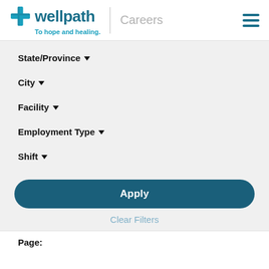[Figure (logo): Wellpath logo with cross icon and tagline 'To hope and healing.' and 'Careers' text and hamburger menu]
State/Province ▼
City ▼
Facility ▼
Employment Type ▼
Shift ▼
Apply
Clear Filters
Page: